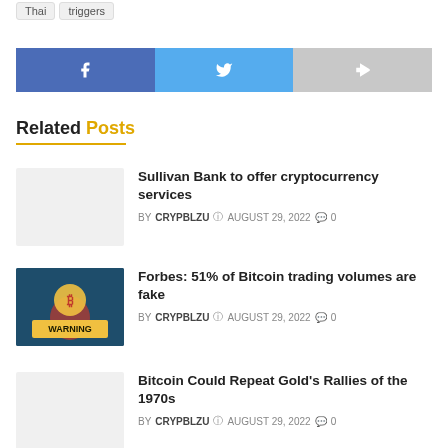Thai
triggers
[Figure (infographic): Social share buttons: Facebook (blue), Twitter (light blue), Share (gray)]
Related Posts
Sullivan Bank to offer cryptocurrency services BY CRYPBLZU AUGUST 29, 2022 0 comments
Forbes: 51% of Bitcoin trading volumes are fake BY CRYPBLZU AUGUST 29, 2022 0 comments
Bitcoin Could Repeat Gold's Rallies of the 1970s BY CRYPBLZU AUGUST 29, 2022 0 comments